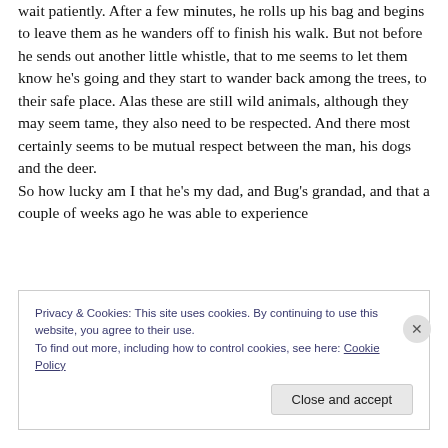wait patiently. After a few minutes, he rolls up his bag and begins to leave them as he wanders off to finish his walk. But not before he sends out another little whistle, that to me seems to let them know he's going and they start to wander back among the trees, to their safe place. Alas these are still wild animals, although they may seem tame, they also need to be respected. And there most certainly seems to be mutual respect between the man, his dogs and the deer.
So how lucky am I that he's my dad, and Bug's grandad, and that a couple of weeks ago he was able to experience
Privacy & Cookies: This site uses cookies. By continuing to use this website, you agree to their use.
To find out more, including how to control cookies, see here: Cookie Policy